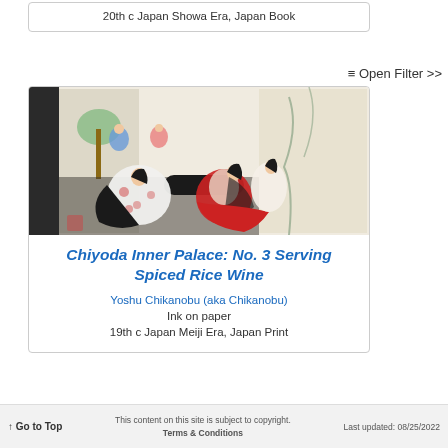20th c Japan Showa Era, Japan Book
≡ Open Filter >>
[Figure (illustration): Japanese woodblock print depicting court ladies in kimono in a palace interior, with figures in front of folding screens and painted panels]
Chiyoda Inner Palace: No. 3 Serving Spiced Rice Wine
Yoshu Chikanobu (aka Chikanobu)
Ink on paper
19th c Japan Meiji Era, Japan Print
↑ Go to Top   This content on this site is subject to copyright. Terms & Conditions   Last updated: 08/25/2022